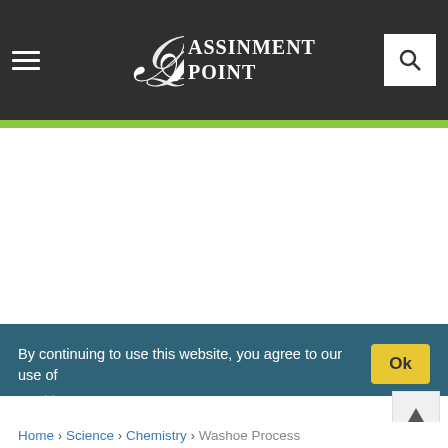ASSINMENT POINT
By continuing to use this website, you agree to our use of Ok Cookies
Home › Science › Chemistry › Washoe Process